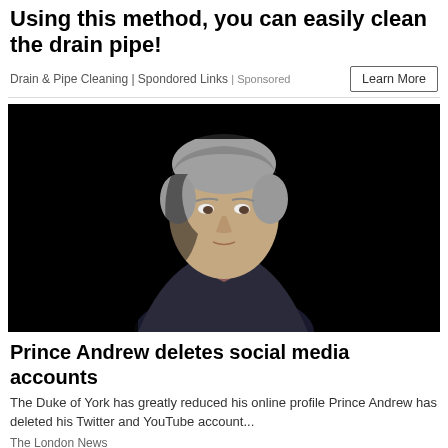Using this method, you can easily clean the drain pipe!
Drain & Pipe Cleaning | Spondored Links | Sponsored
[Figure (photo): Portrait photo of Prince Andrew in a dark suit against a black background]
Prince Andrew deletes social media accounts
The Duke of York has greatly reduced his online profile Prince Andrew has deleted his Twitter and YouTube account...
The London News